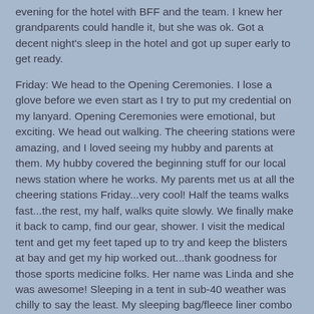evening for the hotel with BFF and the team. I knew her grandparents could handle it, but she was ok. Got a decent night's sleep in the hotel and got up super early to get ready.
Friday: We head to the Opening Ceremonies. I lose a glove before we even start as I try to put my credential on my lanyard. Opening Ceremonies were emotional, but exciting. We head out walking. The cheering stations were amazing, and I loved seeing my hubby and parents at them. My hubby covered the beginning stuff for our local news station where he works. My parents met us at all the cheering stations Friday...very cool! Half the teams walks fast...the rest, my half, walks quite slowly. We finally make it back to camp, find our gear, shower. I visit the medical tent and get my feet taped up to try and keep the blisters at bay and get my hip worked out...thank goodness for those sports medicine folks. Her name was Linda and she was awesome! Sleeping in a tent in sub-40 weather was chilly to say the least. My sleeping bag/fleece liner combo proves quite warm, although the porta-potty trip is cold. Waking up in cold weather isn't good for sore muscles (which is why two team members headed to a hotel).